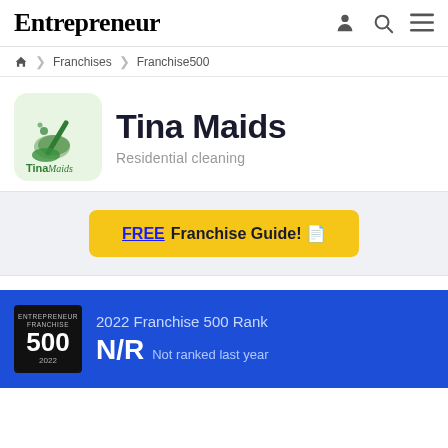Entrepreneur
Franchises > Franchise500
[Figure (logo): Tina Maids logo: green cleaning brush and bubbles on light green rounded square background with 'Tina Maids' text]
Tina Maids
Residential cleaning
FREE Franchise Guide!
2022 Franchise 500 Rank
N/R  Not ranked last year